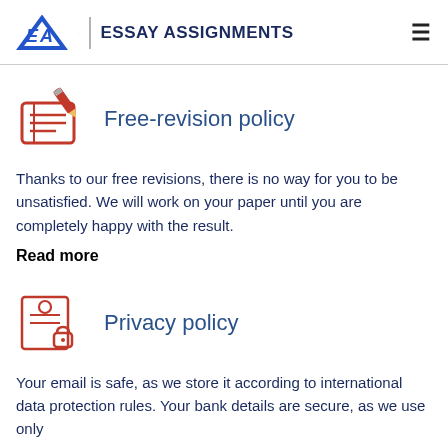EA | ESSAY ASSIGNMENTS
[Figure (illustration): Icon of a notebook with a red pen/pencil, red lines on pages]
Free-revision policy
Thanks to our free revisions, there is no way for you to be unsatisfied. We will work on your paper until you are completely happy with the result.
Read more
[Figure (illustration): Icon of a person/user with a lock, privacy symbol]
Privacy policy
Your email is safe, as we store it according to international data protection rules. Your bank details are secure, as we use only